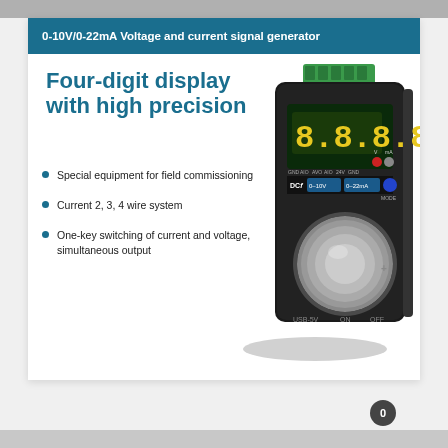0-10V/0-22mA Voltage and current signal generator
Four-digit display with high precision
Special equipment for field commissioning
Current 2, 3, 4 wire system
One-key switching of current and voltage, simultaneous output
[Figure (photo): A black handheld voltage and current signal generator device with a four-digit yellow LED display showing 8.8.8.8, a large silver rotary knob, a blue MODE button, green terminal block connector on top, and labels DCf 0-10V 0-22mA, USB-5V ON OFF]
0